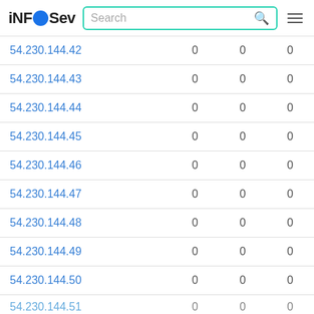iNFOSev | Search
| IP |  |  |  |
| --- | --- | --- | --- |
| 54.230.144.42 | 0 | 0 | 0 |
| 54.230.144.43 | 0 | 0 | 0 |
| 54.230.144.44 | 0 | 0 | 0 |
| 54.230.144.45 | 0 | 0 | 0 |
| 54.230.144.46 | 0 | 0 | 0 |
| 54.230.144.47 | 0 | 0 | 0 |
| 54.230.144.48 | 0 | 0 | 0 |
| 54.230.144.49 | 0 | 0 | 0 |
| 54.230.144.50 | 0 | 0 | 0 |
| 54.230.144.51 | 0 | 0 | 0 |